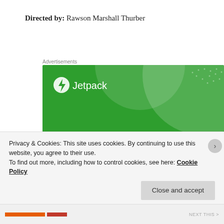Directed by: Rawson Marshall Thurber
Advertisements
[Figure (illustration): Jetpack advertisement banner on green background with large decorative circles, Jetpack logo with lightning bolt icon, and text 'The best real-time WordPress backup plugin']
Privacy & Cookies: This site uses cookies. By continuing to use this website, you agree to their use.
To find out more, including how to control cookies, see here: Cookie Policy
Close and accept